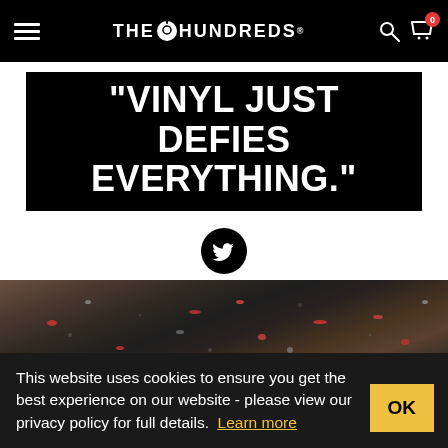THE HUNDREDS
“VINYL JUST DEFIES EVERYTHING.”
[Figure (illustration): Twitter bird icon in black circle]
[Figure (photo): Close-up macro photo of scattered vinyl record pellets/granules, dark background with red and grey pieces]
This website uses cookies to ensure you get the best experience on our website - please view our privacy policy for full details. Learn more